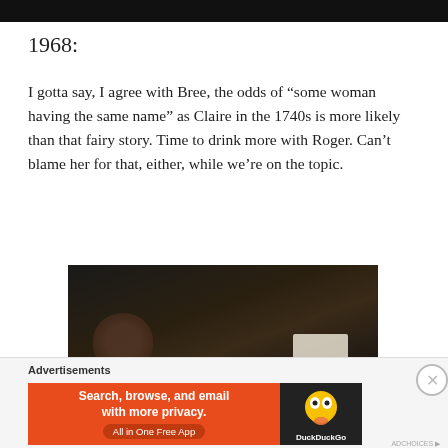[Figure (screenshot): Black top bar/header bar of a webpage]
1968:
I gotta say, I agree with Bree, the odds of “some woman having the same name” as Claire in the 1740s is more likely than that fairy story. Time to drink more with Roger. Can’t blame her for that, either, while we’re on the topic.
[Figure (screenshot): Dark video thumbnail showing blurred figures in a dim scene]
Advertisements
[Figure (screenshot): DuckDuckGo advertisement banner: Search, browse, and email with more privacy. All in One Free App.]